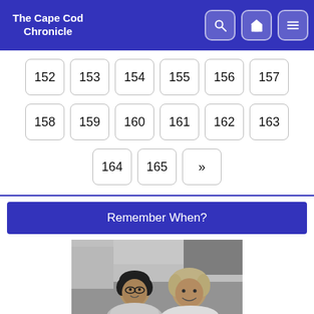The Cape Cod Chronicle
152
153
154
155
156
157
158
159
160
161
162
163
164
165
»
Remember When?
[Figure (photo): Black and white photograph of two women smiling, one with dark hair and glasses, one with lighter hair, in an indoor setting]